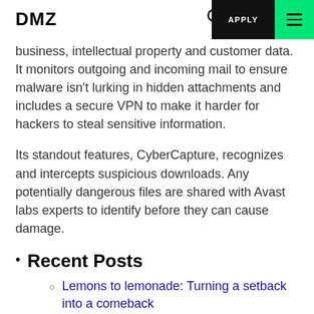DMZ | APPLY
business, intellectual property and customer data. It monitors outgoing and incoming mail to ensure malware isn't lurking in hidden attachments and includes a secure VPN to make it harder for hackers to steal sensitive information.
Its standout features, CyberCapture, recognizes and intercepts suspicious downloads. Any potentially dangerous files are shared with Avast labs experts to identify before they can cause damage.
Recent Posts
Lemons to lemonade: Turning a setback into a comeback